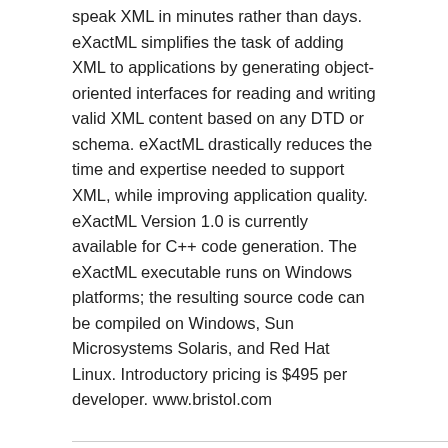speak XML in minutes rather than days. eXactML simplifies the task of adding XML to applications by generating object-oriented interfaces for reading and writing valid XML content based on any DTD or schema. eXactML drastically reduces the time and expertise needed to support XML, while improving application quality. eXactML Version 1.0 is currently available for C++ code generation. The eXactML executable runs on Windows platforms; the resulting source code can be compiled on Windows, Sun Microsystems Solaris, and Red Hat Linux. Introductory pricing is $495 per developer. www.bristol.com
WapWorld Service Launched By Jingo
JANUARY 11, 2000 / 0 COMMENTS